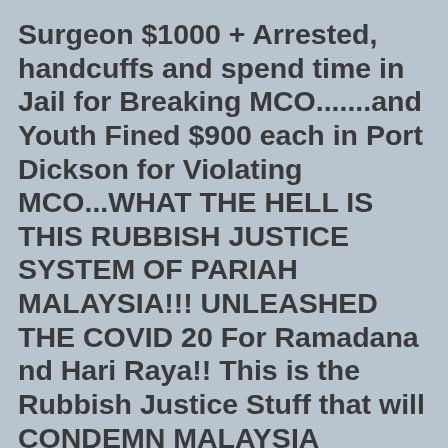Surgeon $1000 + Arrested, handcuffs and spend time in Jail for Breaking MCO.......and Youth Fined $900 each in Port Dickson for Violating MCO...WHAT THE HELL IS THIS RUBBISH JUSTICE SYSTEM OF PARIAH MALAYSIA!!! UNLEASHED THE COVID 20 For Ramadana nd Hari Raya!! This is the Rubbish Justice Stuff that will CONDEMN MALAYSIA FOREVER TO ETERNAL PARIAH NATION..
Muhyiddin, Azmin and Zuriadah ASKED Why Judge DID not